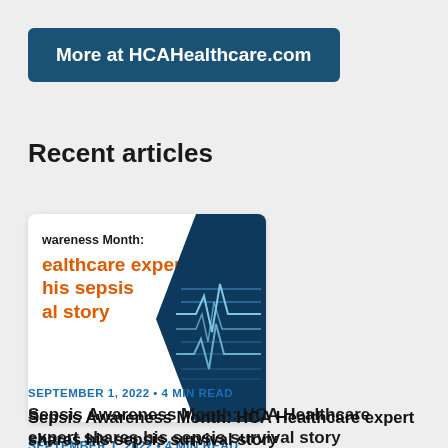More at HCAHealthcare.com
Recent articles
[Figure (screenshot): Article thumbnail card showing partial text 'Awareness Month:' and 'ealthcare expert his sepsis al story' in orange bold text on white background, with a dark blue diamond/arrow shape on the right containing a blue image of medical monitor waveforms.]
SEPTEMBER 1, 2022 • 4 MIN READ
Sepsis Awareness Month: HCA Healthcare expert shares his sepsis survival story